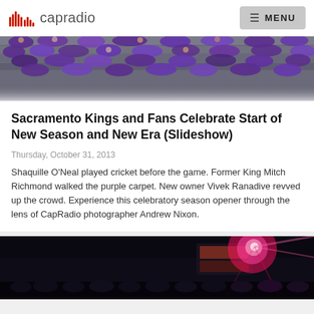capradio — MENU
[Figure (photo): Crowd of Sacramento Kings fans in purple shirts seated in arena stands]
Sacramento Kings and Fans Celebrate Start of New Season and New Era (Slideshow)
Thursday, October 31, 2013
Shaquille O'Neal played cricket before the game. Former King Mitch Richmond walked the purple carpet. New owner Vivek Ranadive revved up the crowd. Experience this celebratory season opener through the lens of CapRadio photographer Andrew Nixon.
[Figure (photo): Dark arena interior with bright pink/red light flare and scoreboard banner visible]